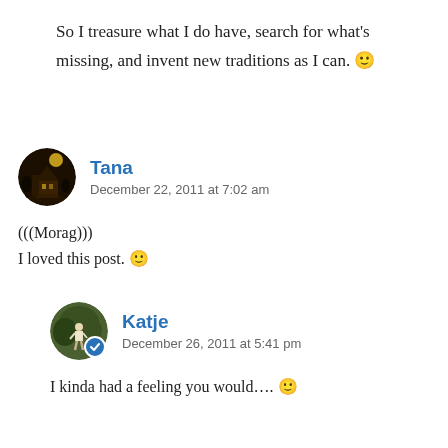So I treasure what I do have, search for what's missing, and invent new traditions as I can. 🙂
Tana
December 22, 2011 at 7:02 am
(((Morag)))
I loved this post. 🙂
Katje
December 26, 2011 at 5:41 pm
I kinda had a feeling you would…. 🙂